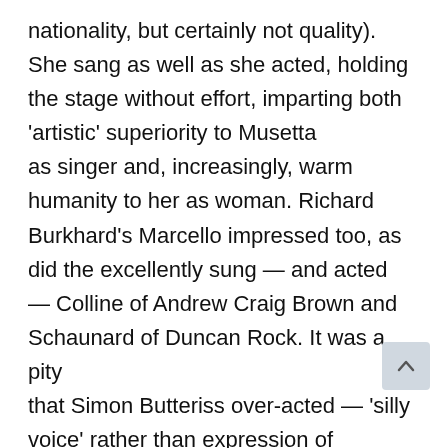nationality, but certainly not quality). She sang as well as she acted, holding the stage without effort, imparting both 'artistic' superiority to Musetta as singer and, increasingly, warm humanity to her as woman. Richard Burkhard's Marcello impressed too, as did the excellently sung — and acted — Colline of Andrew Craig Brown and Schaunard of Duncan Rock. It was a pity that Simon Butteriss over-acted — 'silly voice' rather than expression of the text through singing — in the role of Benoit; maybe he was doing so under orders. A greater pity was the banality of Amanda Holden's translation; making Puccini sound satisfactory in English is not the easiest of tasks, but